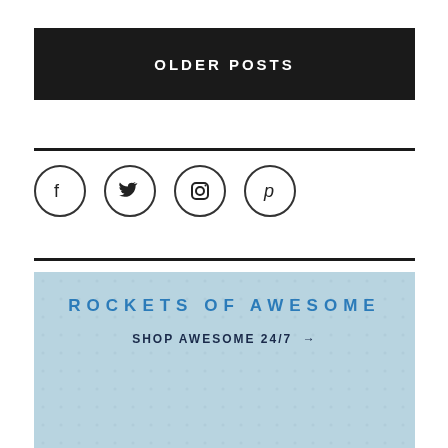OLDER POSTS
[Figure (other): Social media icons: Facebook, Twitter, Instagram, Pinterest in circular outlines]
[Figure (infographic): Rockets of Awesome banner ad with light blue background, brand name 'ROCKETS OF AWESOME' in blue spaced caps, subtext 'SHOP AWESOME 24/7 →' in dark navy]